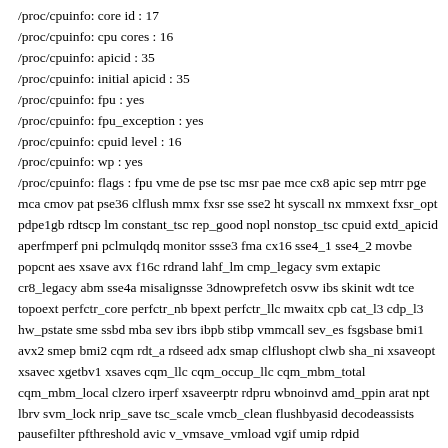/proc/cpuinfo: core id : 17
/proc/cpuinfo: cpu cores : 16
/proc/cpuinfo: apicid : 35
/proc/cpuinfo: initial apicid : 35
/proc/cpuinfo: fpu : yes
/proc/cpuinfo: fpu_exception : yes
/proc/cpuinfo: cpuid level : 16
/proc/cpuinfo: wp : yes
/proc/cpuinfo: flags : fpu vme de pse tsc msr pae mce cx8 apic sep mtrr pge mca cmov pat pse36 clflush mmx fxsr sse sse2 ht syscall nx mmxext fxsr_opt pdpe1gb rdtscp lm constant_tsc rep_good nopl nonstop_tsc cpuid extd_apicid aperfmperf pni pclmulqdq monitor ssse3 fma cx16 sse4_1 sse4_2 movbe popcnt aes xsave avx f16c rdrand lahf_lm cmp_legacy svm extapic cr8_legacy abm sse4a misalignsse 3dnowprefetch osvw ibs skinit wdt tce topoext perfctr_core perfctr_nb bpext perfctr_llc mwaitx cpb cat_l3 cdp_l3 hw_pstate sme ssbd mba sev ibrs ibpb stibp vmmcall sev_es fsgsbase bmi1 avx2 smep bmi2 cqm rdt_a rdseed adx smap clflushopt clwb sha_ni xsaveopt xsavec xgetbv1 xsaves cqm_llc cqm_occup_llc cqm_mbm_total cqm_mbm_local clzero irperf xsaveerptr rdpru wbnoinvd amd_ppin arat npt lbrv svm_lock nrip_save tsc_scale vmcb_clean flushbyasid decodeassists pausefilter pfthreshold avic v_vmsave_vmload vgif umip rdpid overflow_recov succor smca
/proc/cpuinfo: bugs : sysret_ss_attrs spectre_v1 spectre_v2